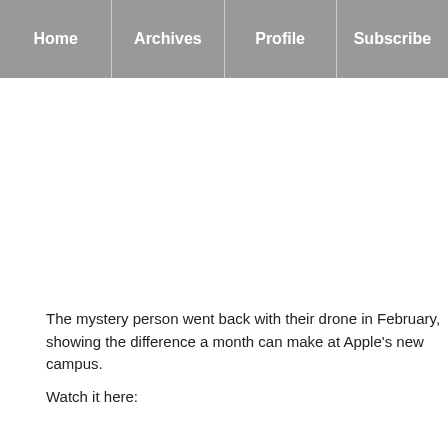Home | Archives | Profile | Subscribe
The mystery person went back with their drone in February, showing the difference a month can make at Apple's new campus.
Watch it here: